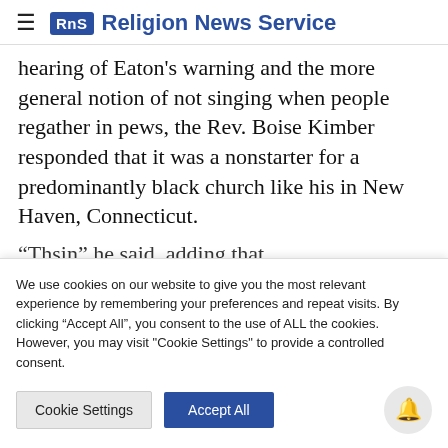RNS Religion News Service
hearing of Eaton's warning and the more general notion of not singing when people regather in pews, the Rev. Boise Kimber responded that it was a nonstarter for a predominantly black church like his in New Haven, Connecticut.
“Th... sin...
We use cookies on our website to give you the most relevant experience by remembering your preferences and repeat visits. By clicking “Accept All”, you consent to the use of ALL the cookies. However, you may visit "Cookie Settings" to provide a controlled consent.